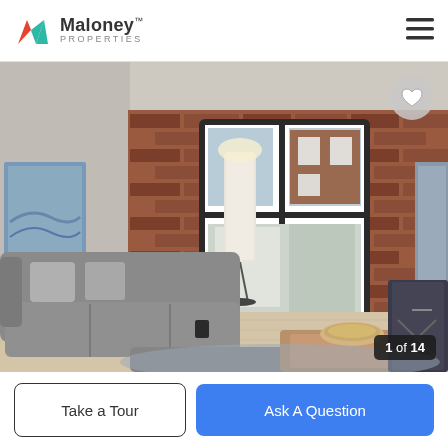Maloney PROPERTIES
[Figure (photo): Interior photo of a modern apartment living room with exposed red brick wall, large double-hung window showing view of another brick building outside, grey sectional sofa, wooden coffee table with decorative tray, tall floor lamp, large tropical plant in a gold pot, and artwork on the walls. Image counter shows 1 of 14.]
1 of 14
Take a Tour
Ask A Question